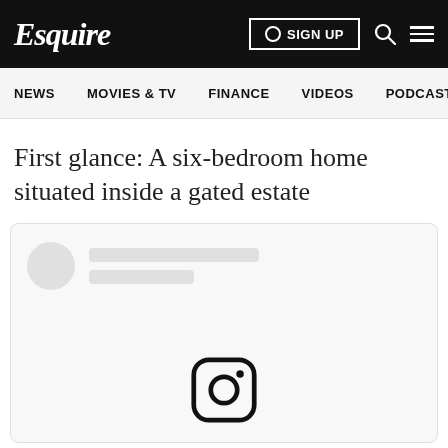Esquire
NEWS   MOVIES & TV   FINANCE   VIDEOS   PODCASTS
First glance: A six-bedroom home situated inside a gated estate
[Figure (screenshot): Social media embed card with skeleton loader showing avatar circle and placeholder lines, with Instagram logo icon centered at the bottom]